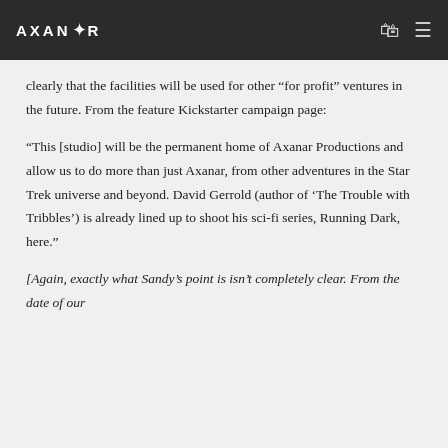AXANAR
clearly that the facilities will be used for other “for profit” ventures in the future. From the feature Kickstarter campaign page:
“This [studio] will be the permanent home of Axanar Productions and allow us to do more than just Axanar, from other adventures in the Star Trek universe and beyond. David Gerrold (author of ‘The Trouble with Tribbles’) is already lined up to shoot his sci-fi series, Running Dark, here.”
[Again, exactly what Sandy’s point is isn’t completely clear. From the date of our